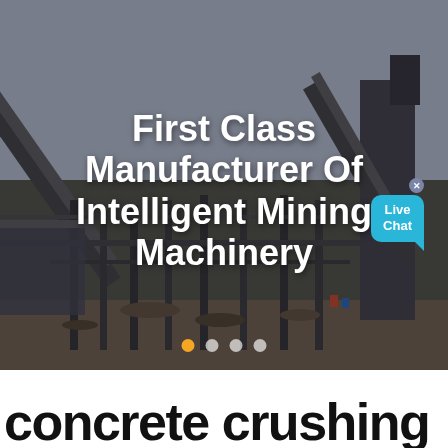[Figure (photo): Industrial mining facility with conveyor belts, steel structures, and machinery under a hazy sky. A live chat bubble UI element overlays the top-right area.]
First Class Manufacturer Of Intelligent Mining Machinery
concrete crushing